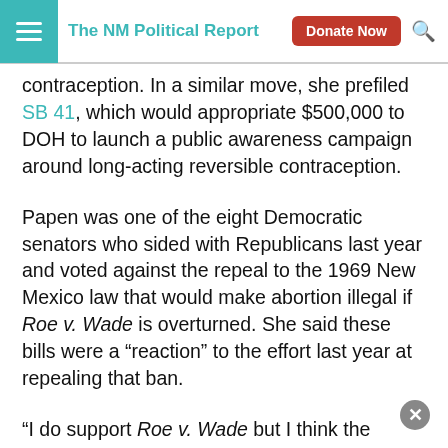The NM Political Report
contraception. In a similar move, she prefiled SB 41, which would appropriate $500,000 to DOH to launch a public awareness campaign around long-acting reversible contraception.
Papen was one of the eight Democratic senators who sided with Republicans last year and voted against the repeal to the 1969 New Mexico law that would make abortion illegal if Roe v. Wade is overturned. She said these bills were a “reaction” to the effort last year at repealing that ban.
“I do support Roe v. Wade but I think the bottom line is, if you don’t want to get pregnant, these long-acting